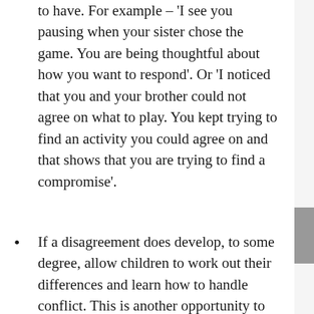to have. For example – 'I see you pausing when your sister chose the game. You are being thoughtful about how you want to respond'. Or 'I noticed that you and your brother could not agree on what to play. You kept trying to find an activity you could agree on and that shows that you are trying to find a compromise'.
If a disagreement does develop, to some degree, allow children to work out their differences and learn how to handle conflict. This is another opportunity to teach before it